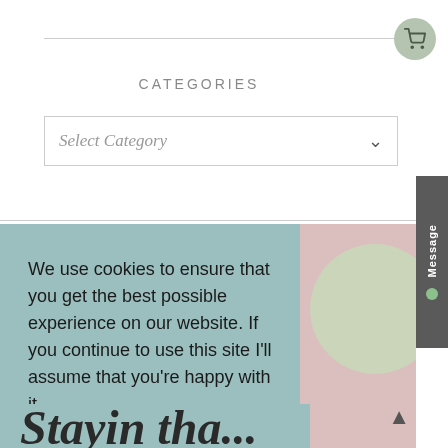[Figure (screenshot): Cart icon button — shopping cart SVG in a circular green-grey button]
CATEGORIES
[Figure (screenshot): Select Category dropdown box with italic placeholder text and down chevron]
[Figure (screenshot): Message sidebar button on right edge with vertical 'Message' text and green dot]
We use cookies to ensure that you get the best possible experience on our website. If you continue to use this site I'll assume that you're happy with it.
Read More
[Figure (screenshot): OKAY button in mauve/rose-brown color]
[Figure (illustration): Decorative background with pale pink and green circle shapes]
[Figure (screenshot): Back to top arrow button]
Stayin tha...